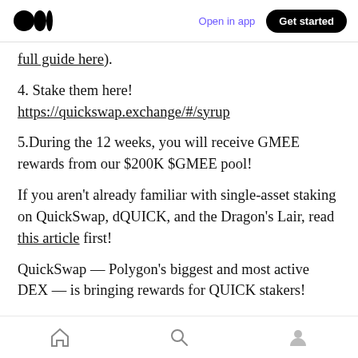Medium logo | Open in app | Get started
full guide here).
4. Stake them here!
https://quickswap.exchange/#/syrup
5.During the 12 weeks, you will receive GMEE rewards from our $200K $GMEE pool!
If you aren't already familiar with single-asset staking on QuickSwap, dQUICK, and the Dragon's Lair, read this article first!
QuickSwap — Polygon's biggest and most active DEX — is bringing rewards for QUICK stakers!
Home | Search | Profile